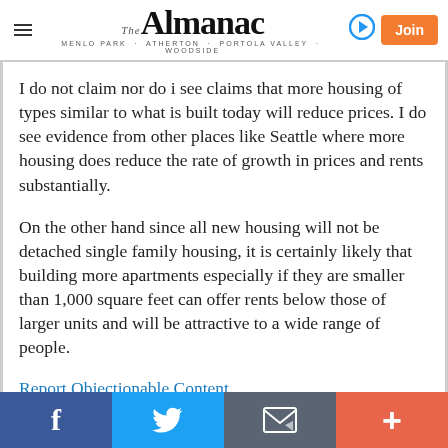The Almanac — MENLO PARK · ATHERTON · PORTOLA VALLEY · WOODSIDE
I do not claim nor do i see claims that more housing of types similar to what is built today will reduce prices. I do see evidence from other places like Seattle where more housing does reduce the rate of growth in prices and rents substantially.
On the other hand since all new housing will not be detached single family housing, it is certainly likely that building more apartments especially if they are smaller than 1,000 square feet can offer rents below those of larger units and will be attractive to a wide range of people.
Report Objectionable Content
f  (Twitter bird)  (envelope)  +